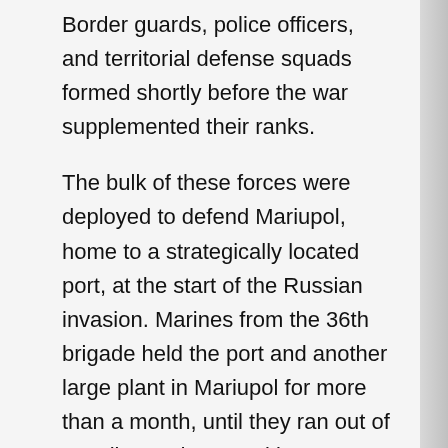Border guards, police officers, and territorial defense squads formed shortly before the war supplemented their ranks.
The bulk of these forces were deployed to defend Mariupol, home to a strategically located port, at the start of the Russian invasion. Marines from the 36th brigade held the port and another large plant in Mariupol for more than a month, until they ran out of supplies and ammunition.
They moved to the Azovstal steel mill to join the Azov Regiment, a national guard unit with roots in the far right, and some of them were captured by the Russians.